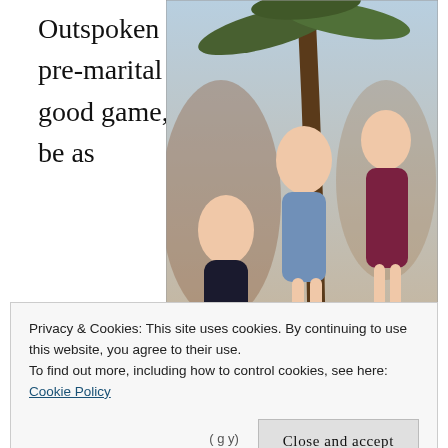Outspoken advocate of pre-marital sex. Talks a good game, but might not be as
[Figure (photo): Vintage color photograph of four women in swimsuits posing on a beach near a palm tree. One woman is seated on the sand, the others are standing behind her.]
Privacy & Cookies: This site uses cookies. By continuing to use this website, you agree to their use.
To find out more, including how to control cookies, see here:
Cookie Policy
Close and accept